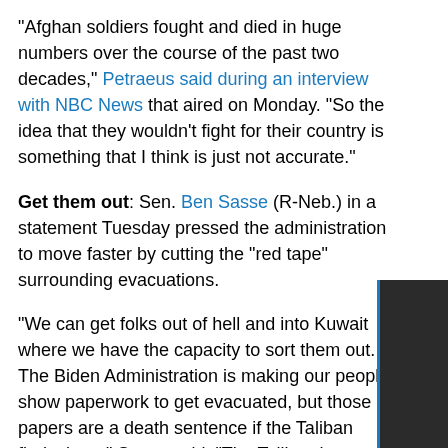"Afghan soldiers fought and died in huge numbers over the course of the past two decades," Petraeus said during an interview with NBC News that aired on Monday. "So the idea that they wouldn't fight for their country is something that I think is just not accurate."
Get them out: Sen. Ben Sasse (R-Neb.) in a statement Tuesday pressed the administration to move faster by cutting the "red tape" surrounding evacuations.
"We can get folks out of hell and into Kuwait where we have the capacity to sort them out. The Biden Administration is making our people show paperwork to get evacuated, but those papers are a death sentence if the Taliban finds them," Sasse said. "The Taliban has check points around the Kabul airport, women and children are begging for their lives outside the wire, and the Biden Administration is worried about getting the right paperwork notarized. It's morally repugnant."